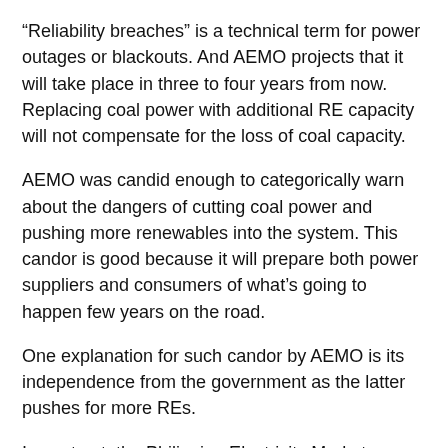“Reliability breaches” is a technical term for power outages or blackouts. And AEMO projects that it will take place in three to four years from now. Replacing coal power with additional RE capacity will not compensate for the loss of coal capacity.
AEMO was candid enough to categorically warn about the dangers of cutting coal power and pushing more renewables into the system. This candor is good because it will prepare both power suppliers and consumers of what’s going to happen few years on the road.
One explanation for such candor by AEMO is its independence from the government as the latter pushes for more REs.
In contrast, the Philippine Electricity Market Corporation (PEMC), AEMO’s counterpart here as electricity market operator, is government-dependent. It is headed and chaired by the DoE (Department of Energy) secretary and many board members are from the government, like the National Power Corp. (NPC), National Transmission Corp. (TransCo)